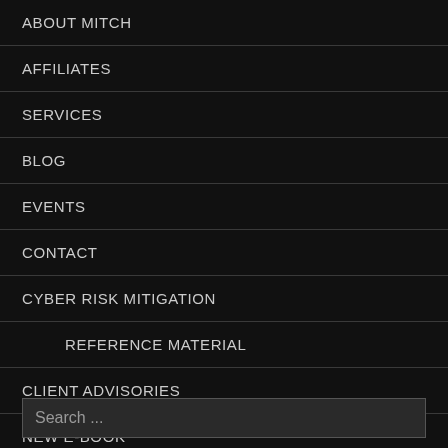ABOUT MITCH
AFFILIATES
SERVICES
BLOG
EVENTS
CONTACT
CYBER RISK MITIGATION
REFERENCE MATERIAL
CLIENT ADVISORIES
NEW E-BOOK
Search ...